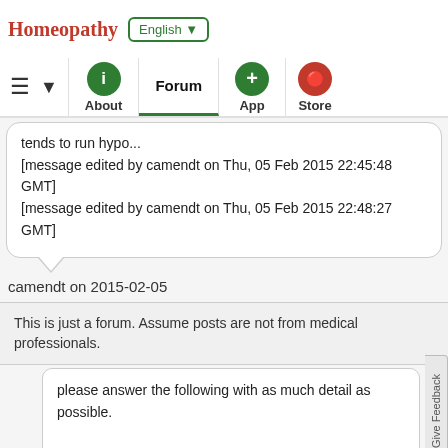Homeopathy | English ▼ | About | Forum | App | Store
tends to run hypo...
[message edited by camendt on Thu, 05 Feb 2015 22:45:48 GMT]
[message edited by camendt on Thu, 05 Feb 2015 22:48:27 GMT]
camendt on 2015-02-05
This is just a forum. Assume posts are not from medical professionals.
please answer the following with as much detail as possible.

1 Name
2 Age
3 sex
4 Height and Weight
5 Main problem
6 Any other problem
7 The problem is better or worse from